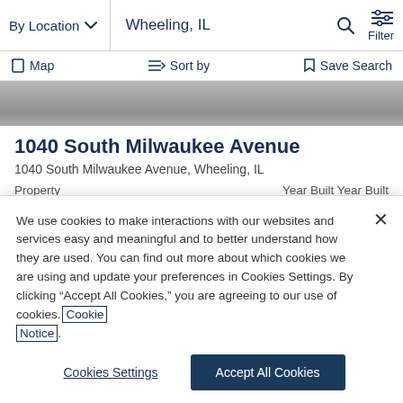By Location   Wheeling, IL   Filter
Map   Sort by   Save Search
[Figure (photo): Gray property exterior photo strip]
1040 South Milwaukee Avenue
1040 South Milwaukee Avenue, Wheeling, IL
Property   Year Built Year Built
We use cookies to make interactions with our websites and services easy and meaningful and to better understand how they are used. You can find out more about which cookies we are using and update your preferences in Cookies Settings. By clicking "Accept All Cookies," you are agreeing to our use of cookies. Cookie Notice.
Cookies Settings
Accept All Cookies